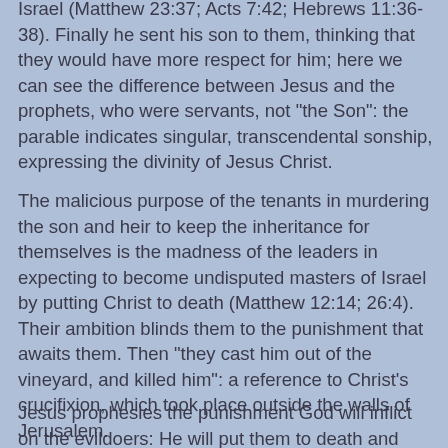Israel (Matthew 23:37; Acts 7:42; Hebrews 11:36-38). Finally he sent his son to them, thinking that they would have more respect for him; here we can see the difference between Jesus and the prophets, who were servants, not "the Son": the parable indicates singular, transcendental sonship, expressing the divinity of Jesus Christ.
The malicious purpose of the tenants in murdering the son and heir to keep the inheritance for themselves is the madness of the leaders in expecting to become undisputed masters of Israel by putting Christ to death (Matthew 12:14; 26:4). Their ambition blinds them to the punishment that awaits them. Then "they cast him out of the vineyard, and killed him": a reference to Christ's crucifixion, which took place outside the walls of Jerusalem.
Jesus prophesies the punishment God will inflict on the evildoers: He will put them to death and rent the vineyard to others. This is a very significant prophecy. St. Peter later repeats to the Sanhedrin: "This is the stone which was rejected by you builders, but which has become the head of the corner" (Acts 4:11; 1 Peter 2:4). The stone is Jesus of